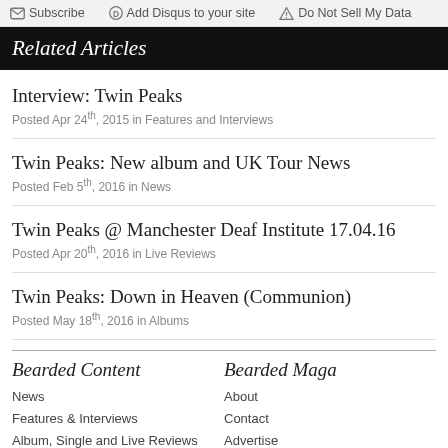Subscribe | Add Disqus to your site | Do Not Sell My Data
Related Articles
Interview: Twin Peaks
Posted Apr 24th, 2015 in Features and Interviews
Twin Peaks: New album and UK Tour News
Posted Feb 5th, 2016 in News
Twin Peaks @ Manchester Deaf Institute 17.04.16
Posted Apr 20th, 2016 in Live Reviews
Twin Peaks: Down in Heaven (Communion)
Posted May 18th, 2016 in Albums
Bearded Content
News
Features & Interviews
Album, Single and Live Reviews
Music Videos
Bearded Maga
About
Contact
Advertise